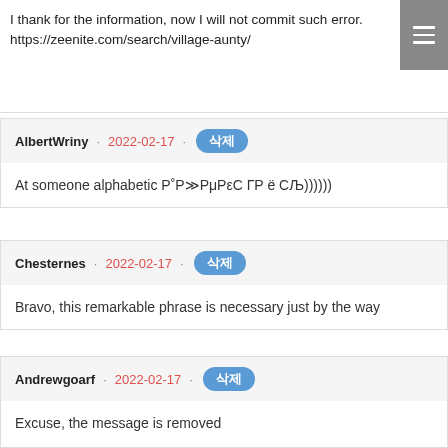I thank for the information, now I will not commit such error.
https://zeenite.com/search/village-aunty/
AlbertWriny · 2022-02-17 · 삭제
At someone alphabetic Р˚Р≫РμРεС ГР ё СЉ))))))
Chesternes · 2022-02-17 · 삭제
Bravo, this remarkable phrase is necessary just by the way
Andrewgoarf · 2022-02-17 · 삭제
Excuse, the message is removed